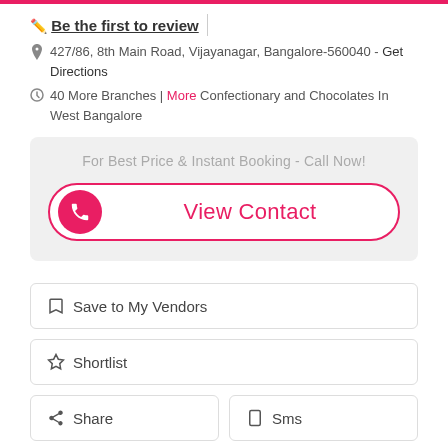Be the first to review
427/86, 8th Main Road, Vijayanagar, Bangalore-560040 - Get Directions
40 More Branches | More Confectionary and Chocolates In West Bangalore
For Best Price & Instant Booking - Call Now!
View Contact
Save to My Vendors
Shortlist
Share
Sms